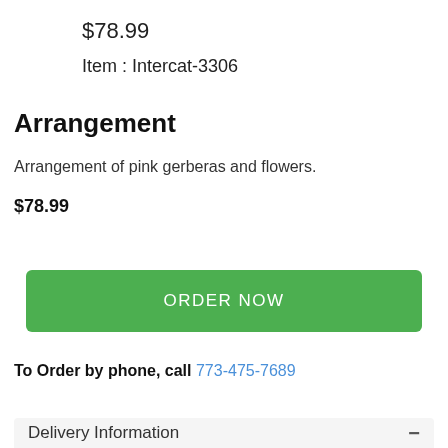$78.99
Item : Intercat-3306
Arrangement
Arrangement of pink gerberas and flowers.
$78.99
ORDER NOW
To Order by phone, call 773-475-7689
Delivery Information